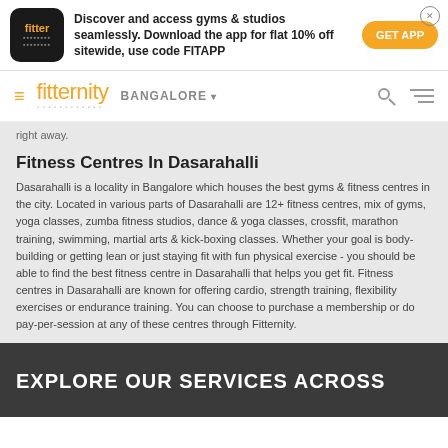[Figure (screenshot): Fitter app logo — black rounded square with orange 'fitter' text and dot-matrix pattern]
Discover and access gyms & studios seamlessly. Download the app for flat 10% off sitewide, use code FITAPP
GET APP
≡  fitternity  BANGALORE ▾
right away.
Fitness Centres In Dasarahalli
Dasarahalli is a locality in Bangalore which houses the best gyms & fitness centres in the city. Located in various parts of Dasarahalli are 12+ fitness centres, mix of gyms, yoga classes, zumba fitness studios, dance & yoga classes, crossfit, marathon training, swimming, martial arts & kick-boxing classes. Whether your goal is body-building or getting lean or just staying fit with fun physical exercise - you should be able to find the best fitness centre in Dasarahalli that helps you get fit. Fitness centres in Dasarahalli are known for offering cardio, strength training, flexibility exercises or endurance training. You can choose to purchase a membership or do pay-per-session at any of these centres through Fitternity.
EXPLORE OUR SERVICES ACROSS